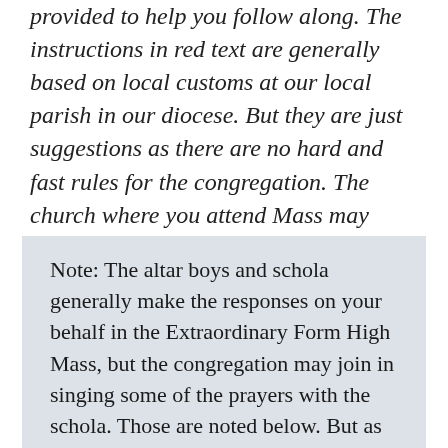provided to help you follow along. The instructions in red text are generally based on local customs at our local parish in our diocese. But they are just suggestions as there are no hard and fast rules for the congregation. The church where you attend Mass may have slightly different customs. You should follow those.
Note: The altar boys and schola generally make the responses on your behalf in the Extraordinary Form High Mass, but the congregation may join in singing some of the prayers with the schola. Those are noted below. But as at a Low Mass, you are always